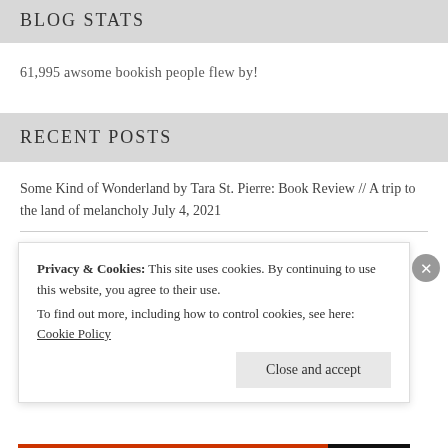BLOG STATS
61,995 awsome bookish people flew by!
RECENT POSTS
Some Kind of Wonderland by Tara St. Pierre: Book Review // A trip to the land of melancholy July 4, 2021
Privacy & Cookies: This site uses cookies. By continuing to use this website, you agree to their use.
To find out more, including how to control cookies, see here: Cookie Policy
Close and accept